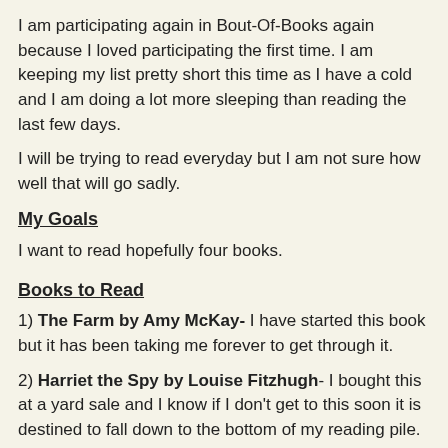I am participating again in Bout-Of-Books again because I loved participating the first time. I am keeping my list pretty short this time as I have a cold and I am doing a lot more sleeping than reading the last few days.
I will be trying to read everyday but I am not sure how well that will go sadly.
My Goals
I want to read hopefully four books.
Books to Read
1) The Farm by Amy McKay- I have started this book but it has been taking me forever to get through it.
2) Harriet the Spy by Louise Fitzhugh- I bought this at a yard sale and I know if I don't get to this soon it is destined to fall down to the bottom of my reading pile.